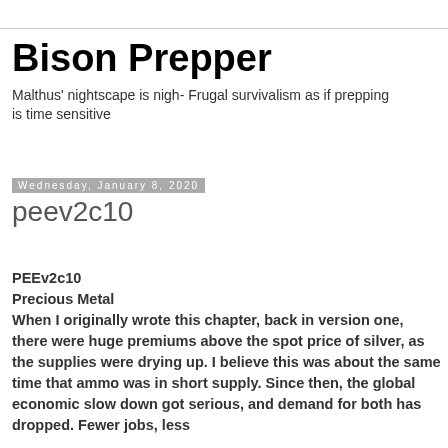Bison Prepper
Malthus' nightscape is nigh- Frugal survivalism as if prepping is time sensitive
Wednesday, January 8, 2020
peev2c10
PEEv2c10
Precious Metal
When I originally wrote this chapter, back in version one, there were huge premiums above the spot price of silver, as the supplies were drying up. I believe this was about the same time that ammo was in short supply. Since then, the global economic slow down got serious, and demand for both has dropped. Fewer jobs, less